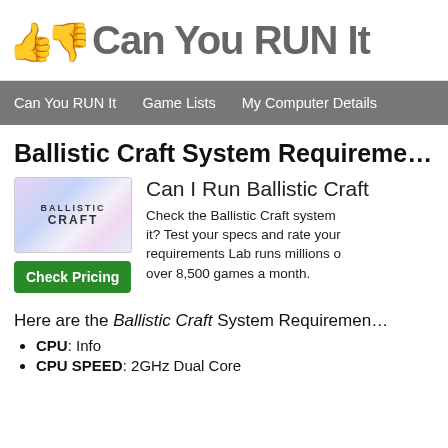Can You RUN It
Can You RUN It | Game Lists | My Computer Details
Ballistic Craft System Requirements
[Figure (logo): Ballistic Craft game logo with stylized text and colorful background]
Can I Run Ballistic Craft
Check the Ballistic Craft system requirements. Can I run it? Test your specs and rate your gaming PC. System requirements Lab runs millions of PC requirements tests on over 8,500 games a month.
Here are the Ballistic Craft System Requirements
CPU: Info
CPU SPEED: 2GHz Dual Core